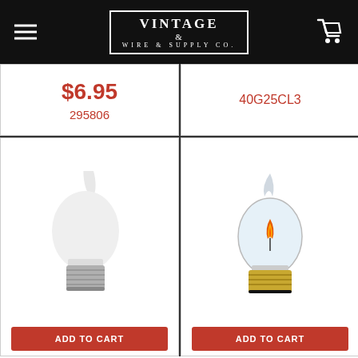Vintage Wire & Supply Co.
$6.95
295806
40G25CL3
[Figure (photo): Frosted silicone flame-tip light bulb with medium E26 screw base]
[Figure (photo): Clear flicker flame bulb with E26 base, CA10 shape, showing orange flame filament inside]
ADD TO CART
ADD TO CART
Silicone Bulb - Medium Base (E26) - S11 - 7.5W
$3.75
Flicker Bulb - E26 Base - CA10 - 3W
$2.95